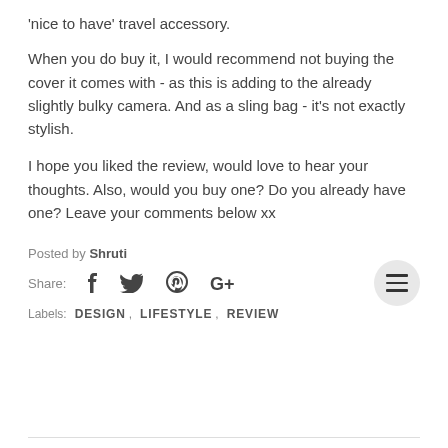'nice to have' travel accessory.
When you do buy it, I would recommend not buying the cover it comes with - as this is adding to the already slightly bulky camera. And as a sling bag - it's not exactly stylish.
I hope you liked the review, would love to hear your thoughts. Also, would you buy one? Do you already have one? Leave your comments below xx
Posted by Shruti
Share: [facebook] [twitter] [pinterest] [google+]
Labels: DESIGN, LIFESTYLE, REVIEW